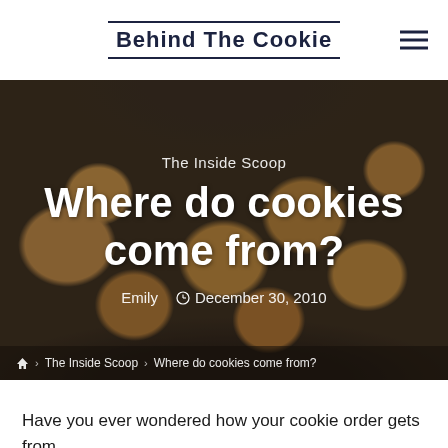Behind The Cookie
[Figure (photo): Overhead view of chocolate chip cookies on a dark baking sheet, with text overlay showing article title, category, author, and date]
Where do cookies come from?
The Inside Scoop
Emily  ⊙ December 30, 2010
⌂ › The Inside Scoop › Where do cookies come from?
Have you ever wondered how your cookie order gets from